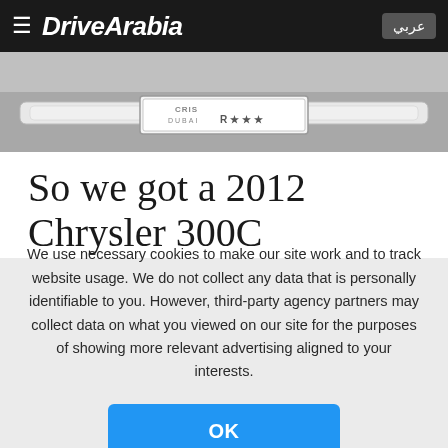DriveArabia
[Figure (photo): Close-up of a Dubai license plate on a vehicle, chrome bumper visible]
So we got a 2012 Chrysler 300C
BY MASHFIQUE HUSSAIN CHOWDHURY. MARCH 25, 2012.
We use necessary cookies to make our site work and to track website usage. We do not collect any data that is personally identifiable to you. However, third-party agency partners may collect data on what you viewed on our site for the purposes of showing more relevant advertising aligned to your interests.